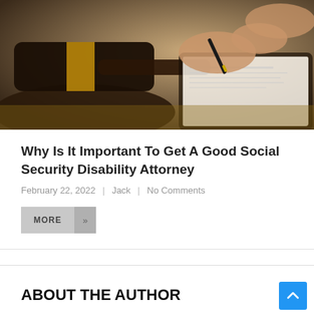[Figure (photo): Close-up photo of a judge's gavel in the foreground and a person signing documents with a fountain pen on a clipboard in the background.]
Why Is It Important To Get A Good Social Security Disability Attorney
February 22, 2022 | Jack | No Comments
MORE »
ABOUT THE AUTHOR